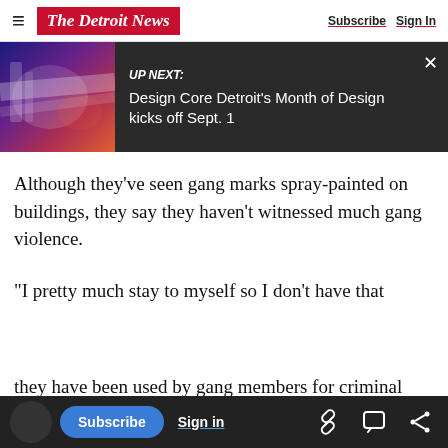The Detroit News | Subscribe  Sign In
[Figure (screenshot): UP NEXT banner with image on left showing colorful scene and text: 'Design Core Detroit's Month of Design kicks off Sept. 1' on dark background with X close button]
Although they’ve seen gang marks spray-painted on buildings, they say they haven’t witnessed much gang violence.
“I pretty much stay to myself so I don’t have that
This article is free to the community. $1 for 6 Months. Subscribe now
concerns. Vacant, rundown homes have a
they have been used by gang members for criminal
Subscribe  Sign in  [link icon] [comment icon] [share icon]